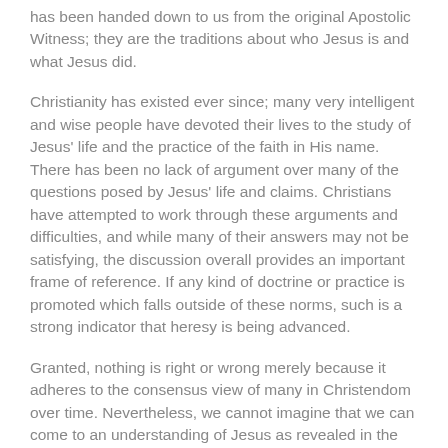has been handed down to us from the original Apostolic Witness; they are the traditions about who Jesus is and what Jesus did.
Christianity has existed ever since; many very intelligent and wise people have devoted their lives to the study of Jesus' life and the practice of the faith in His name. There has been no lack of argument over many of the questions posed by Jesus' life and claims. Christians have attempted to work through these arguments and difficulties, and while many of their answers may not be satisfying, the discussion overall provides an important frame of reference. If any kind of doctrine or practice is promoted which falls outside of these norms, such is a strong indicator that heresy is being advanced.
Granted, nothing is right or wrong merely because it adheres to the consensus view of many in Christendom over time. Nevertheless, we cannot imagine that we can come to an understanding of Jesus as revealed in the New Testament without any regard to these issues and questions that have pervaded Christianity ever since. At the very least we will have to apply the lessons and principles we learn from the New Testament to such issues so as to know how we can most faithfully follow Jesus.